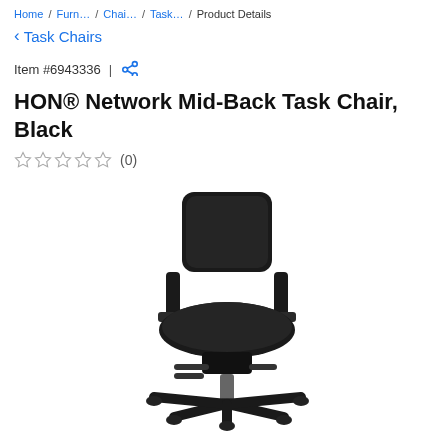Home / Furn.../ Chai.../ Task.../ Product Details
< Task Chairs
Item #6943336 |
HON® Network Mid-Back Task Chair, Black
★★★★★ (0)
[Figure (photo): Black HON Network Mid-Back Task Chair with adjustable armrests, padded seat and back, pneumatic height adjustment, and five-star caster base, shown in three-quarter view against white background.]